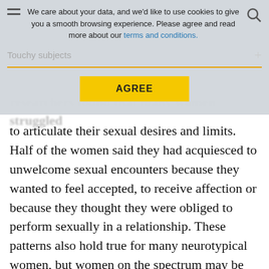[Figure (screenshot): Cookie consent overlay with hamburger menu icon, search icon, cookie message text with 'terms and conditions' link in blue, a 'Touchy subjects' section label with plus icon, an orange divider line, and a yellow AGREE button.]
researchers found that many women struggled to articulate their sexual desires and limits. Half of the women said they had acquiesced to unwelcome sexual encounters because they wanted to feel accepted, to receive affection or because they thought they were obliged to perform sexually in a relationship. These patterns also hold true for many neurotypical women, but women on the spectrum may be even less likely to stand up for themselves.